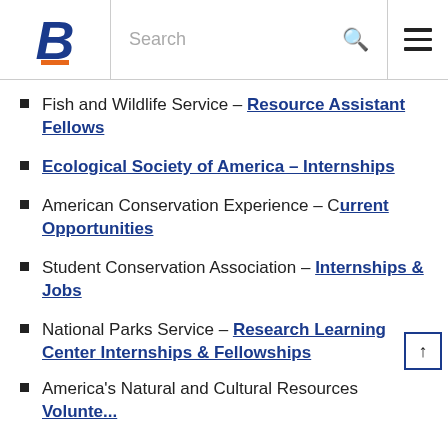Boise State University – Search navigation header
Fish and Wildlife Service – Resource Assistant Fellows
Ecological Society of America – Internships
American Conservation Experience – Current Opportunities
Student Conservation Association – Internships & Jobs
National Parks Service – Research Learning Center Internships & Fellowships
America's Natural and Cultural Resources Volunteer Portal